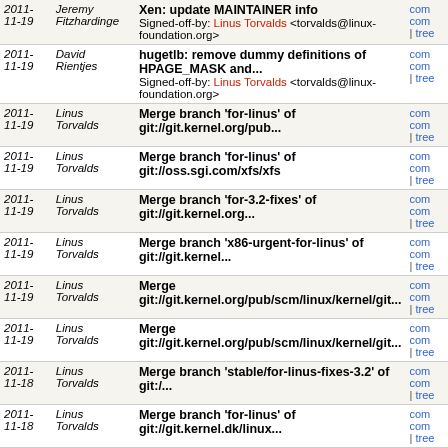| Date | Author | Message | Links |
| --- | --- | --- | --- |
| 2011-
11-19 | Jeremy
Fitzhardinge | Xen: update MAINTAINER info
Signed-off-by: Linus Torvalds <torvalds@linux-foundation.org> | comm
comm
| tree |
| 2011-
11-19 | David
Rientjes | hugetlb: remove dummy definitions of HPAGE_MASK and...
Signed-off-by: Linus Torvalds <torvalds@linux-foundation.org> | comm
comm
| tree |
| 2011-
11-19 | Linus
Torvalds | Merge branch 'for-linus' of git://git.kernel.org/pub... | comm
comm
| tree |
| 2011-
11-19 | Linus
Torvalds | Merge branch 'for-linus' of git://oss.sgi.com/xfs/xfs | comm
comm
| tree |
| 2011-
11-19 | Linus
Torvalds | Merge branch 'for-3.2-fixes' of git://git.kernel.org... | comm
comm
| tree |
| 2011-
11-19 | Linus
Torvalds | Merge branch 'x86-urgent-for-linus' of git://git.kernel... | comm
comm
| tree |
| 2011-
11-19 | Linus
Torvalds | Merge git://git.kernel.org/pub/scm/linux/kernel/git... | comm
comm
| tree |
| 2011-
11-19 | Linus
Torvalds | Merge git://git.kernel.org/pub/scm/linux/kernel/git... | comm
comm
| tree |
| 2011-
11-18 | Linus
Torvalds | Merge branch 'stable/for-linus-fixes-3.2' of git:/... | comm
comm
| tree |
| 2011-
11-18 | Linus
Torvalds | Merge branch 'for-linus' of git://git.kernel.dk/linux... | comm
comm
| tree |
| 2011-
11-18 | Linus
Torvalds | Merge branch 'unicore32' of git://github.com/gxt/linux | comm
comm
| tree |
| 2011-
11-18 | Linus
Torvalds | Merge branch 'merge' of git://git.kernel.org/pub/scm... | comm
comm
| tree |